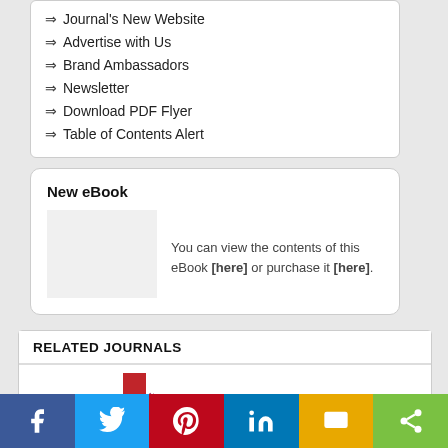⇒ Journal's New Website
⇒ Advertise with Us
⇒ Brand Ambassadors
⇒ Newsletter
⇒ Download PDF Flyer
⇒ Table of Contents Alert
New eBook
You can view the contents of this eBook [here] or purchase it [here].
RELATED JOURNALS
[Figure (logo): Current Medical Imaging journal logo with red vertical bar and purple italic text]